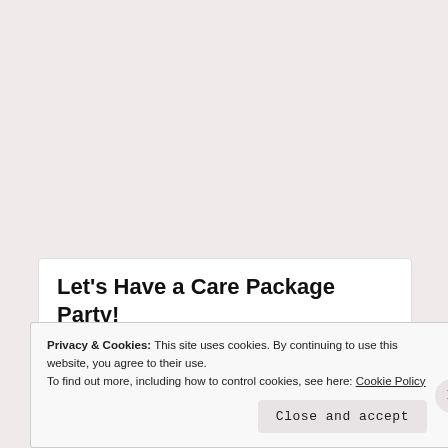care packages! Whether it's for a college student, a new mom, a missionary, or someone else in need, care packages are a beautiful way to let someone know they are thought of and very much loved.
~ for the rest of this blog, please visit ~
Let's Have a Care Package Party!
[Figure (photo): Photo thumbnail showing a care package scene with soft neutral tones]
The crisp, fall air brings to mind cozy days at home, time with family, and
Privacy & Cookies: This site uses cookies. By continuing to use this website, you agree to their use.
To find out more, including how to control cookies, see here: Cookie Policy
Close and accept